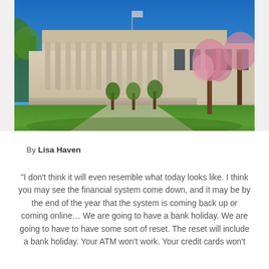[Figure (photo): Federal Reserve building (Eccles Building, Washington D.C.) with neoclassical columns, blue sky, green lawn, and trees in foreground]
By Lisa Haven
“I don’t think it will even resemble what today looks like. I think you may see the financial system come down, and it may be by the end of the year that the system is coming back up or coming online… We are going to have a bank holiday. We are going to have to have some sort of reset. The reset will include a bank holiday. Your ATM won’t work. Your credit cards won’t